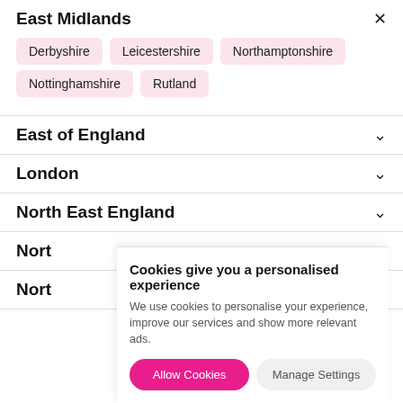East Midlands
Derbyshire
Leicestershire
Northamptonshire
Nottinghamshire
Rutland
East of England
London
North East England
Nort
Nort
Cookies give you a personalised experience
We use cookies to personalise your experience, improve our services and show more relevant ads.
Allow Cookies
Manage Settings